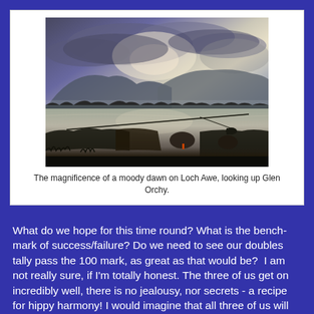[Figure (photo): Photograph of a moody dawn scene on Loch Awe, Scotland, looking up Glen Orchy. A misty loch with calm reflective water in the foreground, dark silhouetted shoreline and vegetation, mountains in the background with dramatic cloudy sky and light breaking through clouds. A fishing rod is visible in the foreground.]
The magnificence of a moody dawn on Loch Awe, looking up Glen Orchy.
What do we hope for this time round? What is the benchmark of success/failure? Do we need to see our doubles tally pass the 100 mark, as great as that would be?  I am not really sure, if I'm totally honest. The three of us get on incredibly well, there is no jealousy, nor secrets - a recipe for hippy harmony! I would imagine that all three of us will have differing expectations and dreams. As this is to be my final